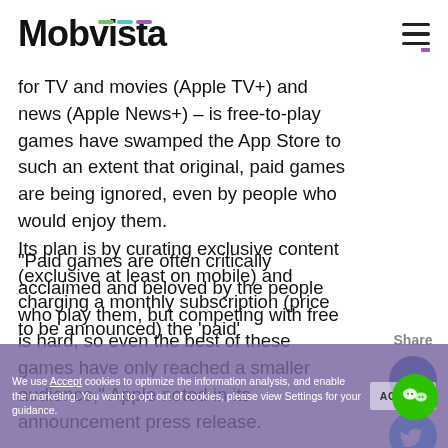Mobvista
for TV and movies (Apple TV+) and news (Apple News+) – is free-to-play games have swamped the App Store to such an extent that original, paid games are being ignored, even by people who would enjoy them.
“Paid games are often critically acclaimed and beloved by the people who play them, but competing with free is hard, so even the best of these games have only reached a smaller audience,” Apple noted in its announcement press release.
Its plan is by curating exclusive content (exclusive at least on mobile) and charging a monthly subscription (price to be announced) the ‘paid’
We use Accept cookies to optimize the information analysis, and enable the marketing. You want to opt out of cookies, please view Settings for your guidance.
ACCEPT